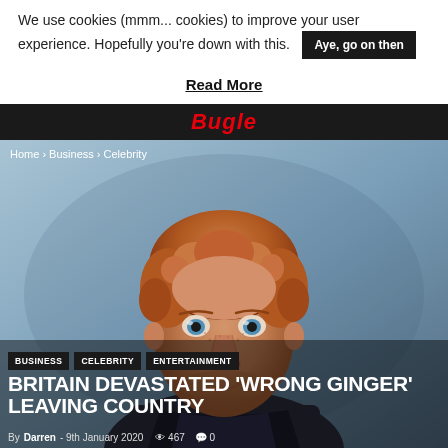We use cookies (mmm... cookies) to improve your user experience. Hopefully you're down with this. [Aye, go on then]
Read More
Bugle
Home › Business › Celebrity
[Figure (photo): Portrait photo of Ed Sheeran, a young man with curly reddish-brown hair, blue eyes, freckles, and light stubble, against a blue-grey background]
BUSINESS  CELEBRITY  ENTERTAINMENT
BRITAIN DEVASTATED 'WRONG GINGER' LEAVING COUNTRY
By Darren - 9th January 2020  👁 467  💬 0